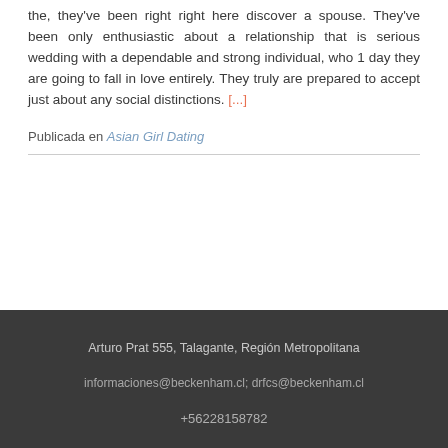the, they've been right right here discover a spouse. They've been only enthusiastic about a relationship that is serious wedding with a dependable and strong individual, who 1 day they are going to fall in love entirely. They truly are prepared to accept just about any social distinctions. [...]
Publicada en Asian Girl Dating
Arturo Prat 555, Talagante, Región Metropolitana
informaciones@beckenham.cl; drfcs@beckenham.cl
+56228158782